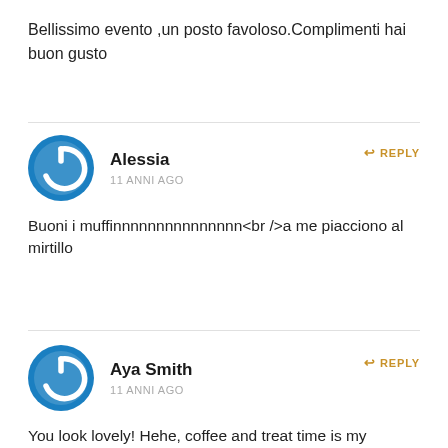Bellissimo evento ,un posto favoloso.Complimenti hai buon gusto
Alessia
11 ANNI AGO
REPLY
Buoni i muffinnnnnnnnnnnnnnn<br />a me piacciono al mirtillo
Aya Smith
11 ANNI AGO
REPLY
You look lovely! Hehe, coffee and treat time is my favorite past-